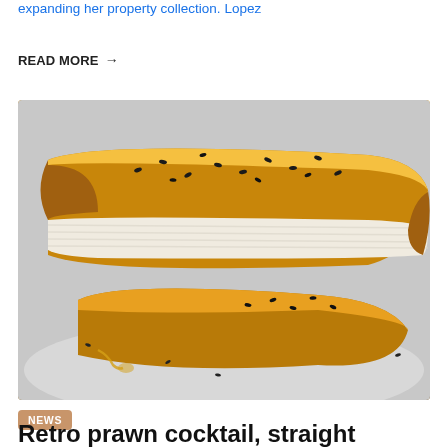expanding her property collection. Lopez
READ MORE →
[Figure (photo): Close-up photo of golden-brown baked pastry pieces (börek or similar layered cheese pastry) topped with black sesame seeds, with honey drizzled on a white plate.]
NEWS
Retro prawn cocktail, straight butter